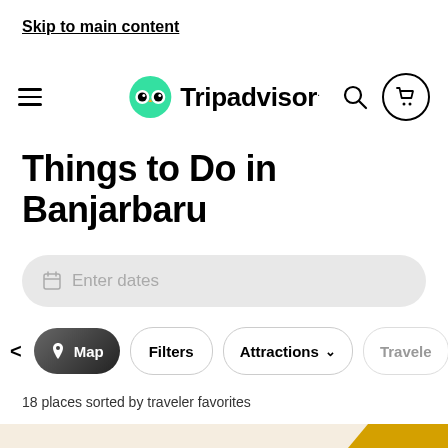Skip to main content
[Figure (logo): TripAdvisor logo with owl icon and wordmark]
Things to Do in Banjarbaru
Enter dates
Map   Filters   Attractions   Traveler
18 places sorted by traveler favorites